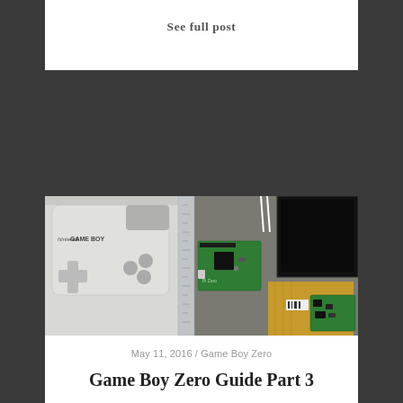See full post
[Figure (photo): Game Boy Zero components laid out on a table: a white Game Boy shell (front face with D-pad and buttons), a metal ruler, a Raspberry Pi Zero board, an LCD screen, and a flexible ribbon cable with circuit board]
May 11, 2016 / Game Boy Zero
Game Boy Zero Guide Part 3
Hello again! It took a littler longer than I'd hoped to get an Adafruit screen (I almost…
See full post